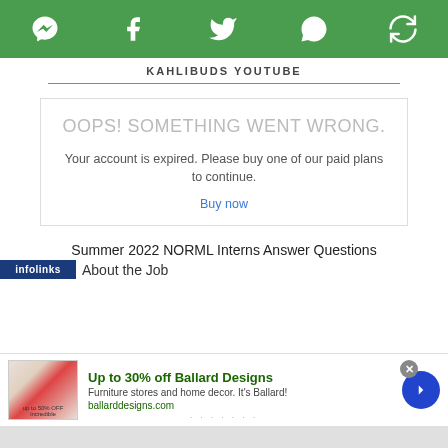[Figure (screenshot): Green top navigation bar with social media icons: Messenger, Facebook, Twitter, WhatsApp, and a share icon]
KAHLIBUDS YOUTUBE
OOPS! SOMETHING WENT WRONG.
Your account is expired. Please buy one of our paid plans to continue.
Buy now
Summer 2022 NORML Interns Answer Questions
About the Job
[Figure (screenshot): Advertisement banner: Up to 30% off Ballard Designs. Furniture stores and home decor. It's Ballard! ballarddesigns.com]